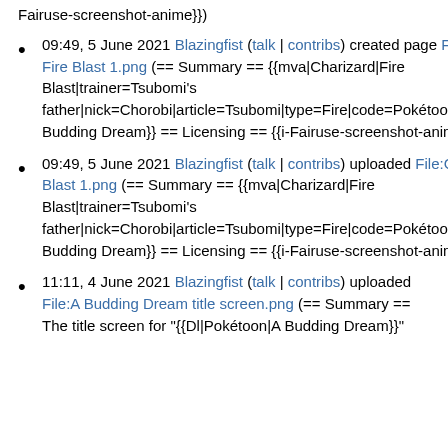Fairuse-screenshot-anime}})
09:49, 5 June 2021 Blazingfist (talk | contribs) created page File:Chorobi Fire Blast 1.png (== Summary == {{mva|Charizard|Fire Blast|trainer=Tsubomi's father|nick=Chorobi|article=Tsubomi|type=Fire|code=Pokétoon|epname=A Budding Dream}} == Licensing == {{i-Fairuse-screenshot-anime}})
09:49, 5 June 2021 Blazingfist (talk | contribs) uploaded File:Chorobi Fire Blast 1.png (== Summary == {{mva|Charizard|Fire Blast|trainer=Tsubomi's father|nick=Chorobi|article=Tsubomi|type=Fire|code=Pokétoon|epname=A Budding Dream}} == Licensing == {{i-Fairuse-screenshot-anime}})
11:11, 4 June 2021 Blazingfist (talk | contribs) uploaded File:A Budding Dream title screen.png (== Summary == The title screen for "{{Dl|Pokétoon|A Budding Dream}}"